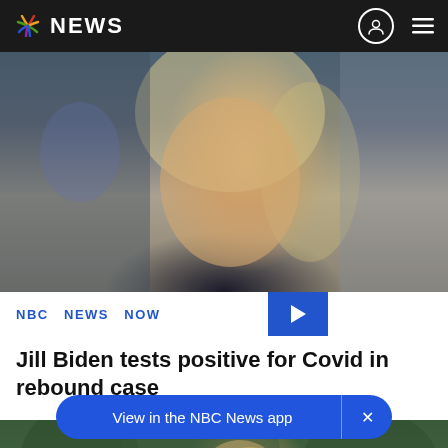NBC NEWS
[Figure (photo): Close-up portrait of Jill Biden, a blonde woman looking upward, with blurred background]
NBC NEWS NOW
Jill Biden tests positive for Covid in rebound case
[Figure (photo): Outdoor scene with people, trees in background, blonde woman leaning forward]
View in the NBC News app